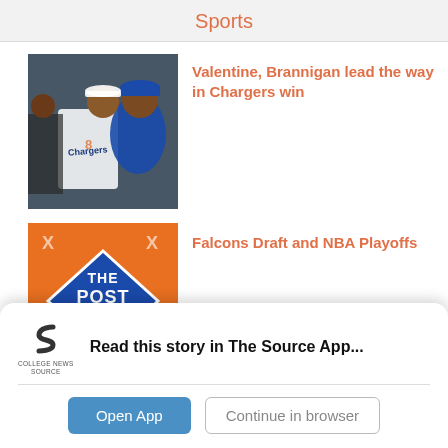Sports
[Figure (photo): Baseball players in Chargers uniforms at a batting cage]
Valentine, Brannigan lead the way in Chargers win
[Figure (illustration): The Post Buzzer logo on orange background with sports silhouettes]
Falcons Draft and NBA Playoffs
[Figure (illustration): Partial view of another Post Buzzer orange card]
Read this story in The Source App...
Open App  Continue in browser